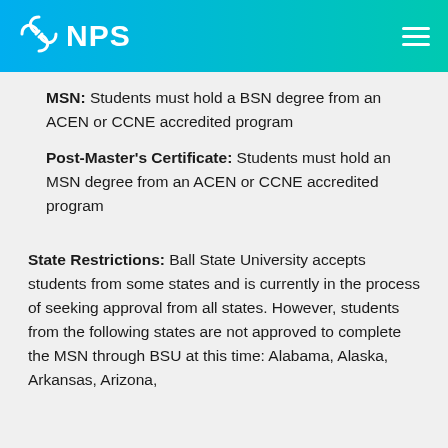NPS
MSN: Students must hold a BSN degree from an ACEN or CCNE accredited program
Post-Master's Certificate: Students must hold an MSN degree from an ACEN or CCNE accredited program
State Restrictions: Ball State University accepts students from some states and is currently in the process of seeking approval from all states. However, students from the following states are not approved to complete the MSN through BSU at this time: Alabama, Alaska, Arkansas, Arizona, California, Colorado, Connecticut, Delaware,